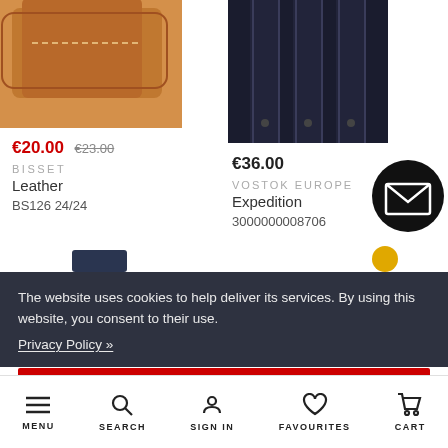[Figure (photo): Brown leather watch strap (partial, top cropped)]
€20.00 €23.00
BISSET
Leather
BS126 24/24
[Figure (photo): Dark navy/black watch strap with ribbed texture (partial, top cropped)]
€36.00
VOSTOK EUROPE
Expedition
3000000008706
[Figure (illustration): Black circular email/envelope icon button]
The website uses cookies to help deliver its services. By using this website, you consent to their use.
Privacy Policy »
I AGREE
MENU   SEARCH   SIGN IN   FAVOURITES   CART